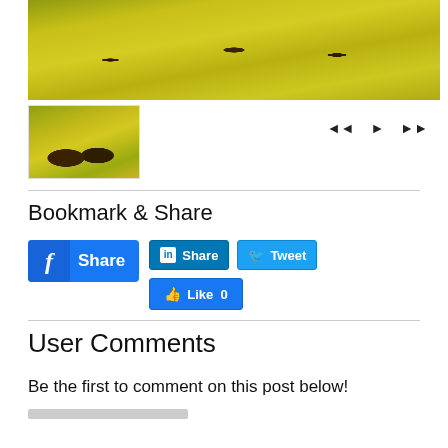[Figure (photo): Main large photo showing two people standing in a yellow flower field (rapeseed/canola flowers)]
[Figure (photo): Thumbnail image showing two people in a yellow flower field, smaller version of main image]
◄◄  ►  ►►
Bookmark & Share
[Figure (other): Facebook Share button (blue), LinkedIn Share button (blue), Twitter Tweet button (blue), Facebook Like 0 button (blue)]
User Comments
Be the first to comment on this post below!